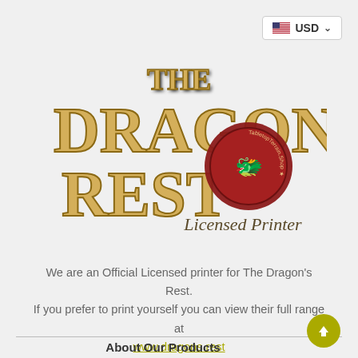[Figure (logo): The Dragon's Rest logo with golden fantasy lettering and a red wax seal stamp reading 'TabletopTerrain.Shop', with 'Licensed Printer' text below]
We are an Official Licensed printer for The Dragon's Rest. If you prefer to print yourself you can view their full range at www.dragons.rest
About Our Products
Due to the printing process there may be tiny imperfections in each model. These imperfections can be cleaned up in the same way you